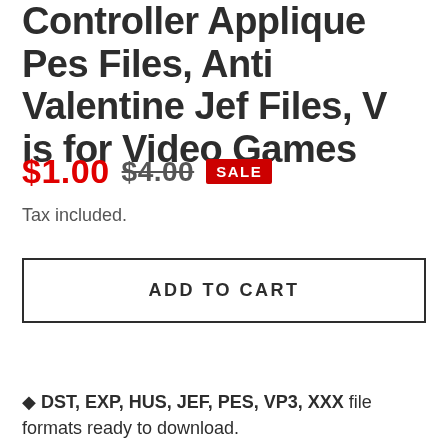Controller Applique Pes Files, Anti Valentine Jef Files, V is for Video Games
$1.00  $4.00  SALE
Tax included.
ADD TO CART
♦ DST, EXP, HUS, JEF, PES, VP3, XXX file formats ready to download.